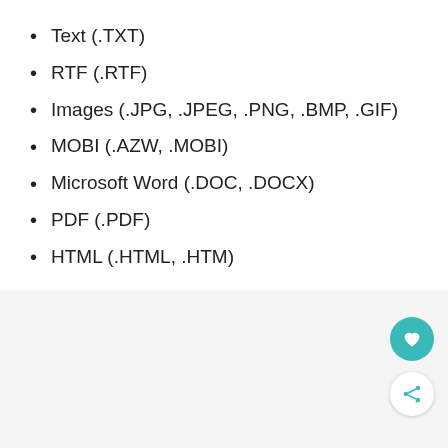Text (.TXT)
RTF (.RTF)
Images (.JPG, .JPEG, .PNG, .BMP, .GIF)
MOBI (.AZW, .MOBI)
Microsoft Word (.DOC, .DOCX)
PDF (.PDF)
HTML (.HTML, .HTM)